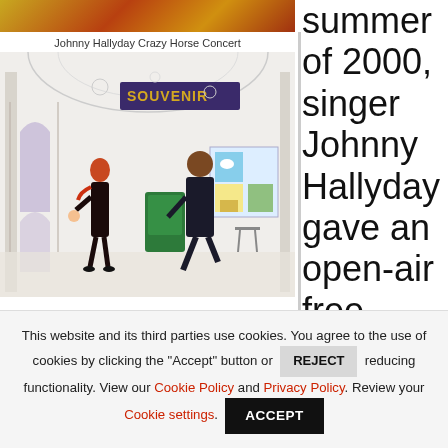[Figure (illustration): Top decorative image strip showing warm orange/red/gold tones, appears to be a partial concert or stage image.]
Johnny Hallyday Crazy Horse Concert
[Figure (illustration): Watercolor illustration of an indoor arcade or gallery with people walking. A woman in a dark dress with red hair and a man in a dark suit. Storefronts visible including a 'SOUVENIR' shop sign. Green kiosk visible.]
summer of 2000, singer Johnny Hallyday gave an open-air free concert on the Champ de
This website and its third parties use cookies. You agree to the use of cookies by clicking the "Accept" button or REJECT reducing functionality. View our Cookie Policy and Privacy Policy. Review your Cookie settings.